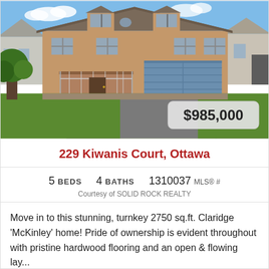[Figure (photo): Exterior photo of a two-storey brick home at 229 Kiwanis Court Ottawa, with a double garage, paved driveway, and green lawn. Price badge shows $985,000.]
229 Kiwanis Court, Ottawa
5 BEDS   4 BATHS   1310037 MLS® #
Courtesy of SOLID ROCK REALTY
Move in to this stunning, turnkey 2750 sq.ft. Claridge 'McKinley' home! Pride of ownership is evident throughout with pristine hardwood flooring and an open & flowing lay...